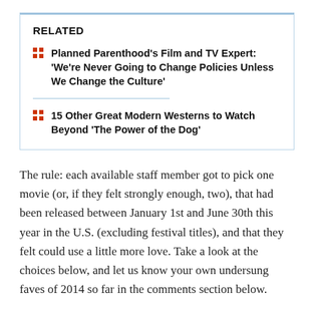RELATED
Planned Parenthood's Film and TV Expert: 'We're Never Going to Change Policies Unless We Change the Culture'
15 Other Great Modern Westerns to Watch Beyond 'The Power of the Dog'
The rule: each available staff member got to pick one movie (or, if they felt strongly enough, two), that had been released between January 1st and June 30th this year in the U.S. (excluding festival titles), and that they felt could use a little more love. Take a look at the choices below, and let us know your own undersung faves of 2014 so far in the comments section below.